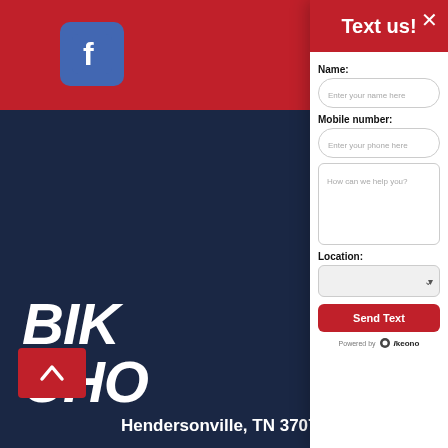[Figure (screenshot): Dark navy blue website background with partial motorcycle dealership logo reading 'BIK' and 'CHO' in white italic bold letters, with 'BIC' in smaller spaced letters below. Red top bar visible. Facebook icon in upper left area. Red scroll-to-top button at bottom left.]
Text us!
Name:
Enter your name here
Mobile number:
Enter your phone here
How can we help you?
Location:
Send Text
Powered by  Ikeono
Hendersonville, TN 37075